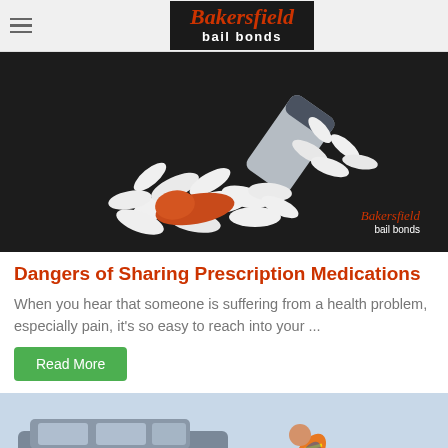Bakersfield bail bonds
[Figure (photo): Prescription pills spilled out of a bottle on a dark surface, with one orange capsule among white pills. Bakersfield bail bonds watermark in bottom right.]
Dangers of Sharing Prescription Medications
When you hear that someone is suffering from a health problem, especially pain, it's so easy to reach into your ...
Read More
[Figure (photo): A man in an orange safety vest bending over near a grey SUV on the road, suggesting a roadside accident or breakdown scene.]